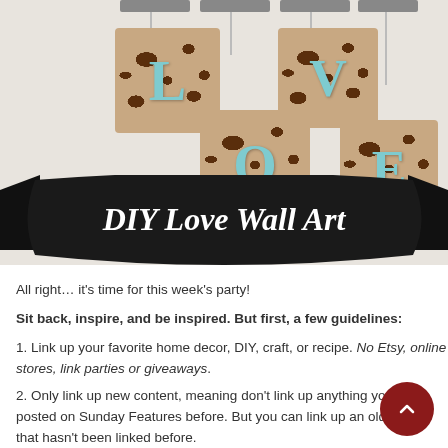[Figure (photo): DIY Love Wall Art — four giraffe-print square tiles each displaying a blue letter (L, O, V, E) hanging from white strings against a white wall, with a curved black ribbon banner at the bottom reading 'DIY Love Wall Art' in white script.]
All right… it's time for this week's party!
Sit back, inspire, and be inspired. But first, a few guidelines:
1. Link up your favorite home decor, DIY, craft, or recipe. No Etsy, online stores, link parties or giveaways.
2. Only link up new content, meaning don't link up anything you posted on Sunday Features before. But you can link up an older post that hasn't been linked before.